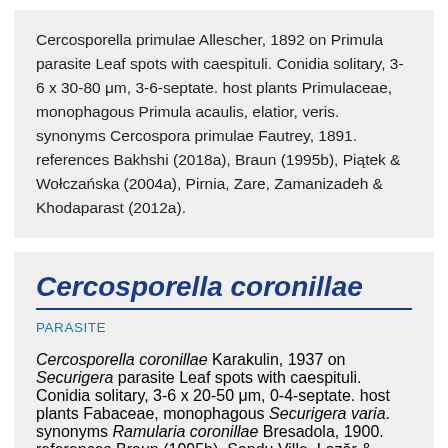Cercosporella primulae Allescher, 1892 on Primula parasite Leaf spots with caespituli. Conidia solitary, 3-6 x 30-80 μm, 3-6-septate. host plants Primulaceae, monophagous Primula acaulis, elatior, veris. synonyms Cercospora primulae Fautrey, 1891. references Bakhshi (2018a), Braun (1995b), Piątek & Wołczańska (2004a), Pirnia, Zare, Zamanizadeh & Khodaparast (2012a).
Cercosporella coronillae
PARASITE
Cercosporella coronillae Karakulin, 1937 on Securigera parasite Leaf spots with caespituli. Conidia solitary, 3-6 x 20-50 μm, 0-4-septate. host plants Fabaceae, monophagous Securigera varia. synonyms Ramularia coronillae Bresadola, 1900. references Braun (1995b), Sandu Ville, Lazăr &